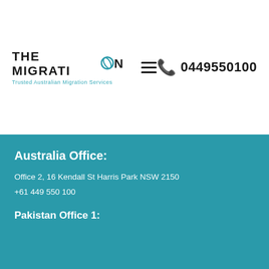[Figure (logo): The Migration logo with teal circular globe icon and tagline 'Trusted Australian Migration Services']
0449550100
Australia Office:
Office 2, 16 Kendall St Harris Park NSW 2150
+61 449 550 100
Pakistan Office 1:
Address line partially visible